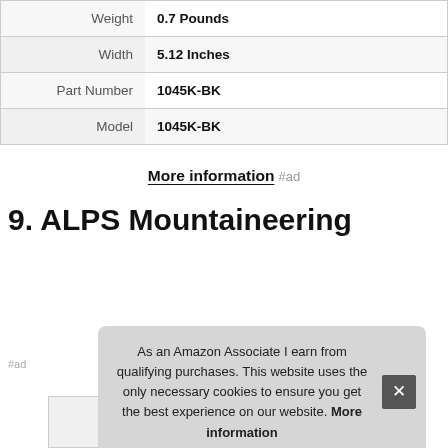| Property | Value |
| --- | --- |
| Weight | 0.7 Pounds |
| Width | 5.12 Inches |
| Part Number | 1045K-BK |
| Model | 1045K-BK |
More information #ad
9. ALPS Mountaineering
As an Amazon Associate I earn from qualifying purchases. This website uses the only necessary cookies to ensure you get the best experience on our website. More information